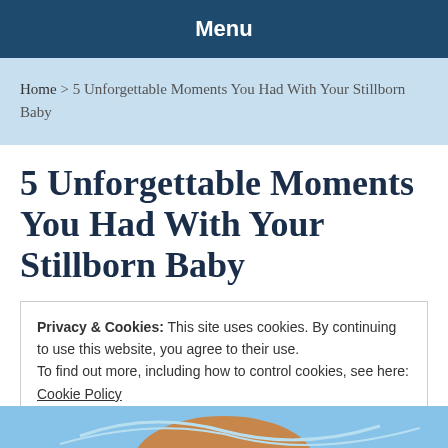Menu
Home > 5 Unforgettable Moments You Had With Your Stillborn Baby
5 Unforgettable Moments You Had With Your Stillborn Baby
Privacy & Cookies: This site uses cookies. By continuing to use this website, you agree to their use.
To find out more, including how to control cookies, see here:
Cookie Policy
Close and accept
[Figure (illustration): Partial illustration of a figure visible at bottom of page]